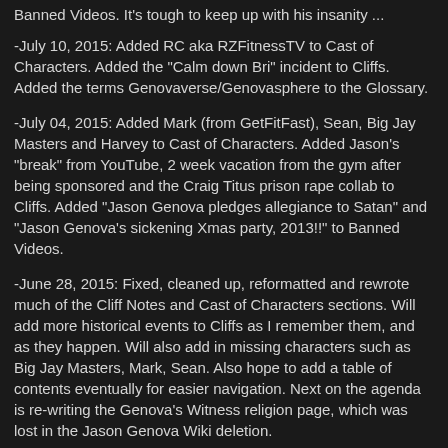Banned Videos. It's tough to keep up with his insanity ...
-July 10, 2015: Added RC aka RZFitnessTV to Cast of Characters. Added the "Calm down Bri" incident to Cliffs. Added the terms Genovaverse/Genovasphere to the Glossary.
-July 04, 2015: Added Mark (from GetFitFast), Sean, Big Jay Masters and Harvey to Cast of Characters. Added Jason's "break" from YouTube, 2 week vacation from the gym after being sponsored and the Craig Titus prison rape collab to Cliffs. Added "Jason Genova pledges allegiance to Satan" and "Jason Genova's sickening Xmas party, 2013!!" to Banned Videos.
-June 28, 2015: Fixed, cleaned up, reformatted and rewrote much of the Cliff Notes and Cast of Characters sections. Will add more historical events to Cliffs as I remember them, and as they happen. Will also add in missing characters such as Big Jay Masters, Mark, Sean. Also hope to add a table of contents eventually for easier navigation. Next on the agenda is re-writing the Genova's Witness religion page, which was lost in the Jason Genova Wiki deletion.
DISCLAIMER: Althe...